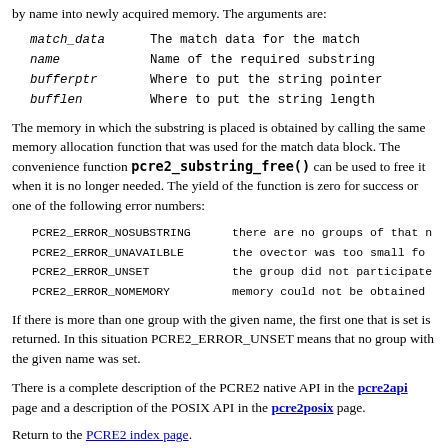by name into newly acquired memory. The arguments are:
match_data   The match data for the match
name   Name of the required substring
bufferptr   Where to put the string pointer
bufflen   Where to put the string length
The memory in which the substring is placed is obtained by calling the same memory allocation function that was used for the match data block. The convenience function pcre2_substring_free() can be used to free it when it is no longer needed. The yield of the function is zero for success or one of the following error numbers:
PCRE2_ERROR_NOSUBSTRING   there are no groups of that n
PCRE2_ERROR_UNAVAILBLE   the ovector was too small fo
PCRE2_ERROR_UNSET   the group did not participate
PCRE2_ERROR_NOMEMORY   memory could not be obtained
If there is more than one group with the given name, the first one that is set is returned. In this situation PCRE2_ERROR_UNSET means that no group with the given name was set.
There is a complete description of the PCRE2 native API in the pcre2api page and a description of the POSIX API in the pcre2posix page.
Return to the PCRE2 index page.